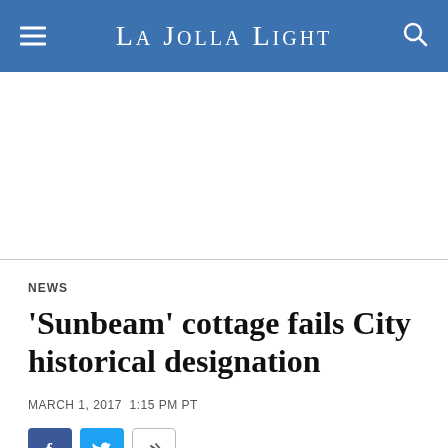La Jolla Light
[Figure (other): Advertisement/blank white space area]
NEWS
'Sunbeam' cottage fails City historical designation
MARCH 1, 2017 1:15 PM PT